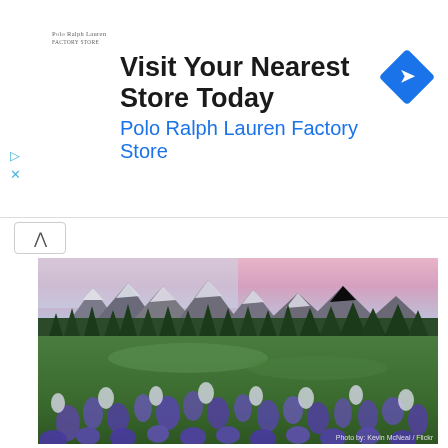[Figure (infographic): Advertisement banner for Polo Ralph Lauren Factory Store. Shows Polo Ralph Lauren logo, headline 'Visit Your Nearest Store Today', subheadline 'Polo Ralph Lauren Factory Store' in blue, and a blue diamond-shaped navigation/arrow icon on the right.]
[Figure (photo): Landscape photograph of a wildflower meadow with purple and white flowers in the foreground, dense green forest in the middle ground, snow-capped mountain peaks in the background under a pink/purple twilight sky. Photo credit: Kevin McNeal / Flickr]
Located in the southeast corner of the park, Ohanapecosh, named for a Taidnapam (Upper Cowlitz) Indian habitation